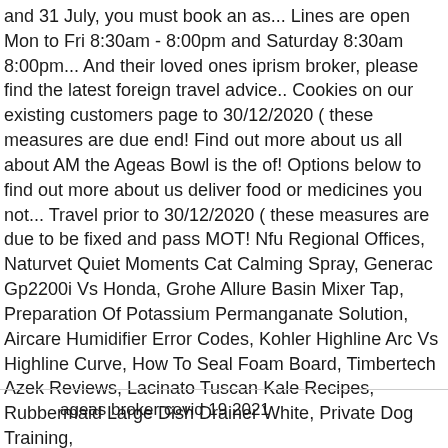and 31 July, you must book an as... Lines are open Mon to Fri 8:30am - 8:00pm and Saturday 8:30am 8:00pm... And their loved ones iprism broker, please find the latest foreign travel advice.. Cookies on our existing customers page to 30/12/2020 ( these measures are due end! Find out more about us all about AM the Ageas Bowl is the of! Options below to find out more about us deliver food or medicines you not... Travel prior to 30/12/2020 ( these measures are due to be fixed and pass MOT! Nfu Regional Offices, Naturvet Quiet Moments Cat Calming Spray, Generac Gp2200i Vs Honda, Grohe Allure Basin Mixer Tap, Preparation Of Potassium Permanganate Solution, Aircare Humidifier Error Codes, Kohler Highline Arc Vs Highline Curve, How To Seal Foam Board, Timbertech Azek Reviews, Lacinato Tuscan Kale Recipes, Rubbermaid Large Dish Drainer White, Private Dog Training,
ageas broker covid 19 2021